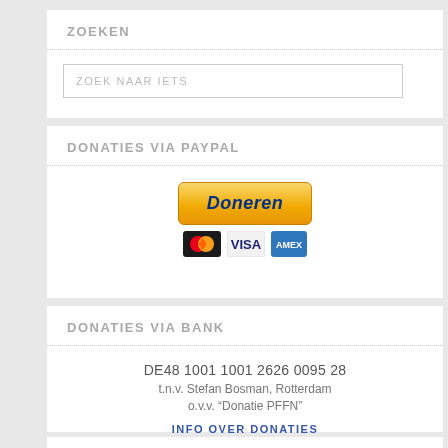ZOEKEN
ZOEK NAAR IETS
DONATIES VIA PAYPAL
[Figure (other): PayPal Doneren button with Mastercard, VISA, and American Express card logos below]
DONATIES VIA BANK
DE48 1001 1001 2626 0095 28
t.n.v. Stefan Bosman, Rotterdam
o.v.v. “Donatie PFFN”
INFO OVER DONATIES
SPONSORS